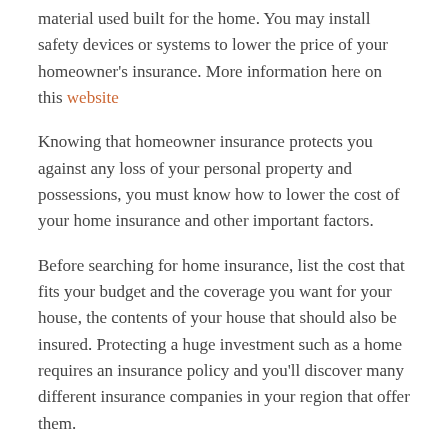material used built for the home. You may install safety devices or systems to lower the price of your homeowner's insurance. More information here on this website
Knowing that homeowner insurance protects you against any loss of your personal property and possessions, you must know how to lower the cost of your home insurance and other important factors.
Before searching for home insurance, list the cost that fits your budget and the coverage you want for your house, the contents of your house that should also be insured. Protecting a huge investment such as a home requires an insurance policy and you'll discover many different insurance companies in your region that offer them.